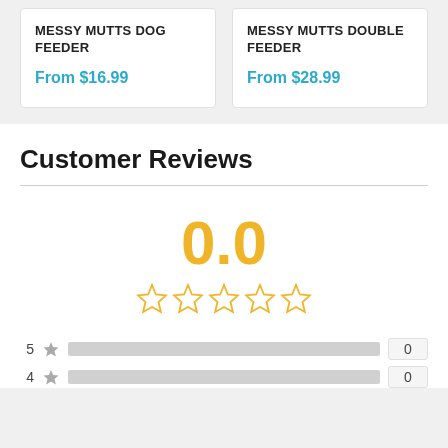MESSY MUTTS DOG FEEDER
From $16.99
MESSY MUTTS DOUBLE FEEDER
From $28.99
Customer Reviews
0.0
5 ★ 0
4 ★ 0